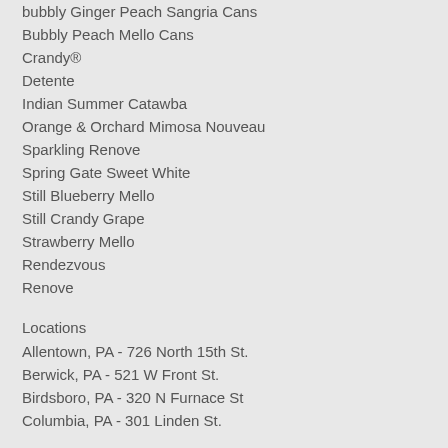bubbly Ginger Peach Sangria Cans
Bubbly Peach Mello Cans
Crandy®
Detente
Indian Summer Catawba
Orange & Orchard Mimosa Nouveau
Sparkling Renove
Spring Gate Sweet White
Still Blueberry Mello
Still Crandy Grape
Strawberry Mello
Rendezvous
Renove
Locations
Allentown, PA - 726 North 15th St.
Berwick, PA - 521 W Front St.
Birdsboro, PA - 320 N Furnace St
Columbia, PA - 301 Linden St.